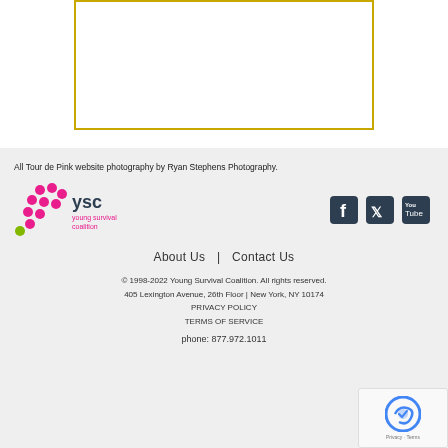[Figure (other): Gold-bordered rectangular box (placeholder/image area) on white background]
All Tour de Pink website photography by Ryan Stephens Photography.
[Figure (logo): Young Survival Coalition (YSC) logo with pink ribbon and YSC text]
[Figure (other): Social media icons: Facebook, Twitter, YouTube]
About Us  |  Contact Us
© 1998-2022 Young Survival Coalition. All rights reserved.
405 Lexington Avenue, 26th Floor | New York, NY 10174
PRIVACY POLICY
TERMS OF SERVICE
phone: 877.972.1011